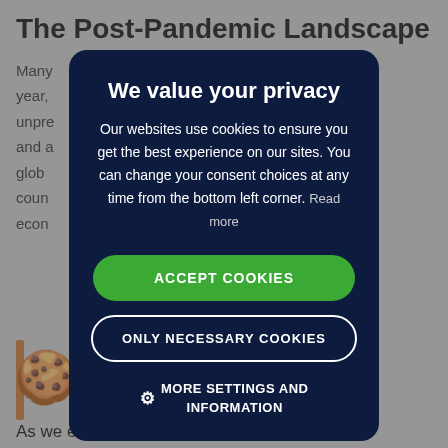The Post-Pandemic Landscape
Many ...rible year, ...unpre...rs, and a...glob...coun...econ...
[Figure (screenshot): Cookie consent modal dialog with dark navy background overlaying a webpage. Contains title 'We value your privacy', body text about cookie usage, an ACCEPT COOKIES green button, an ONLY NECESSARY COOKIES outlined button, and a MORE SETTINGS AND INFORMATION link with gear icon. A cookie emoji icon is visible in the bottom left of the background page. Orange vertical bar visible in background.]
As we emerge from the pandemic, economists'